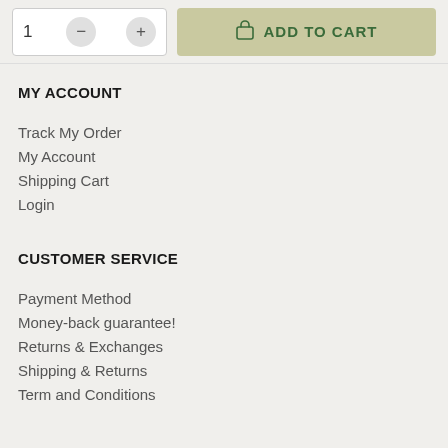[Figure (screenshot): Add to cart UI with quantity selector showing '1' with minus and plus buttons, and a tan/olive 'ADD TO CART' button with shopping bag icon]
MY ACCOUNT
Track My Order
My Account
Shipping Cart
Login
CUSTOMER SERVICE
Payment Method
Money-back guarantee!
Returns & Exchanges
Shipping & Returns
Term and Conditions